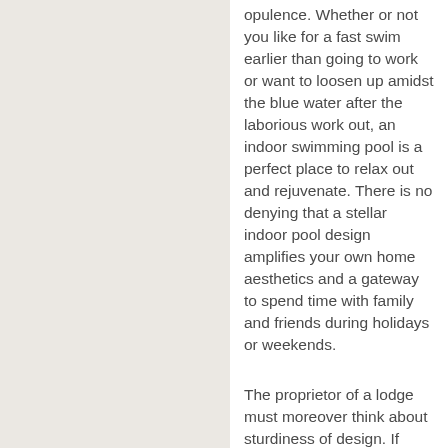opulence. Whether or not you like for a fast swim earlier than going to work or want to loosen up amidst the blue water after the laborious work out, an indoor swimming pool is a perfect place to relax out and rejuvenate. There is no denying that a stellar indoor pool design amplifies your own home aesthetics and a gateway to spend time with family and friends during holidays or weekends.
The proprietor of a lodge must moreover think about sturdiness of design. If something is purchased that conforms to a latest vogue,